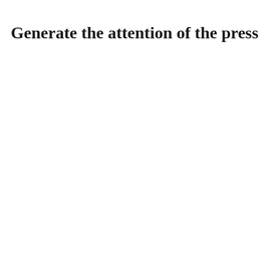Generate the attention of the press